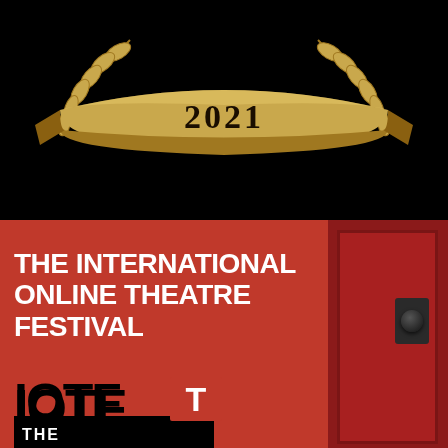[Figure (illustration): Black background with gold laurel wreath and gold ribbon banner displaying '2021' — award/festival emblem graphic]
[Figure (illustration): Red background with a red door on the right side showing a door knob/plate. Bold white text reads 'THE INTERNATIONAL ONLINE THEATRE FESTIVAL'. Below that is a black and white IOTF logo with a red T in a box and 'THE' text.]